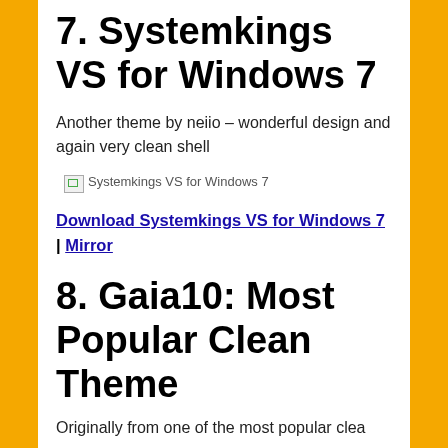7. Systemkings VS for Windows 7
Another theme by neiio – wonderful design and again very clean shell
[Figure (illustration): Broken image placeholder labeled 'Systemkings VS for Windows 7']
Download Systemkings VS for Windows 7 | Mirror
8. Gaia10: Most Popular Clean Theme
Originally from one of the most popular...